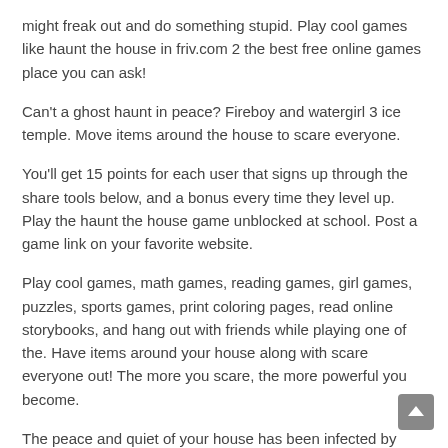might freak out and do something stupid. Play cool games like haunt the house in friv.com 2 the best free online games place you can ask!
Can't a ghost haunt in peace? Fireboy and watergirl 3 ice temple. Move items around the house to scare everyone.
You'll get 15 points for each user that signs up through the share tools below, and a bonus every time they level up. Play the haunt the house game unblocked at school. Post a game link on your favorite website.
Play cool games, math games, reading games, girl games, puzzles, sports games, print coloring pages, read online storybooks, and hang out with friends while playing one of the. Have items around your house along with scare everyone out! The more you scare, the more powerful you become.
The peace and quiet of your house has been infected by thirty